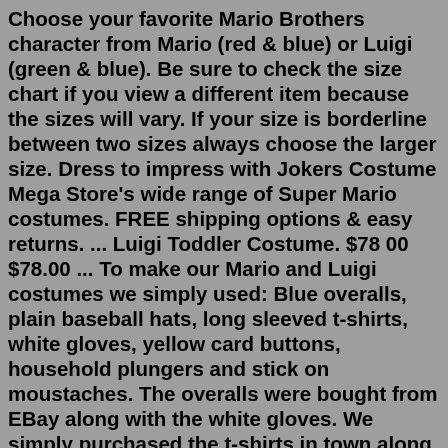Choose your favorite Mario Brothers character from Mario (red & blue) or Luigi (green & blue). Be sure to check the size chart if you view a different item because the sizes will vary. If your size is borderline between two sizes always choose the larger size. Dress to impress with Jokers Costume Mega Store's wide range of Super Mario costumes. FREE shipping options & easy returns. ... Luigi Toddler Costume. $78 00 $78.00 ... To make our Mario and Luigi costumes we simply used: Blue overalls, plain baseball hats, long sleeved t-shirts, white gloves, yellow card buttons, household plungers and stick on moustaches. The overalls were bought from EBay along with the white gloves. We simply purchased the t-shirts in town along with the moustache at a fancy dress store.Luigi Toddler Halloween Costume - Super Mario Brothers Bring the famous video game Mario Brothers to life with this Boy's Luigi Costume. Costume includes jumpsuit printed with blue overalls and green shirt, green character hat, detachable